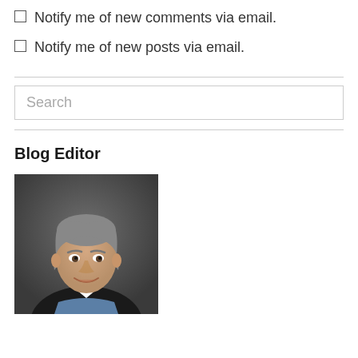Notify me of new comments via email.
Notify me of new posts via email.
Search
Blog Editor
[Figure (photo): Professional headshot of a middle-aged man with short grey hair wearing a dark blazer and blue checked shirt, smiling, against a grey background.]